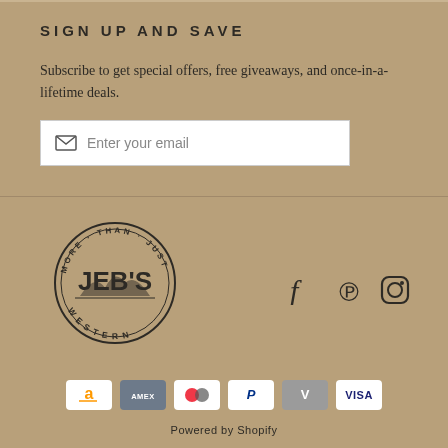SIGN UP AND SAVE
Subscribe to get special offers, free giveaways, and once-in-a-lifetime deals.
[Figure (screenshot): Email input field with envelope icon and placeholder text 'Enter your email']
[Figure (logo): Jeb's Western circular logo with 'MORE THAN JUST' text around top and 'WESTERN' at bottom, featuring JEB'S in large text center]
[Figure (infographic): Social media icons: Facebook (f), Pinterest (P), Instagram (camera circle)]
[Figure (infographic): Payment method icons: Amazon, American Express, Mastercard, PayPal, Venmo, Visa]
Powered by Shopify